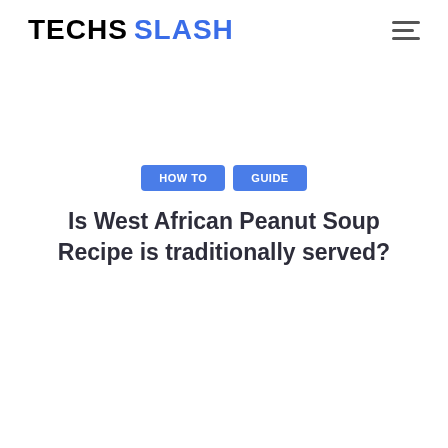TECHS SLASH
HOW TO   GUIDE
Is West African Peanut Soup Recipe is traditionally served?